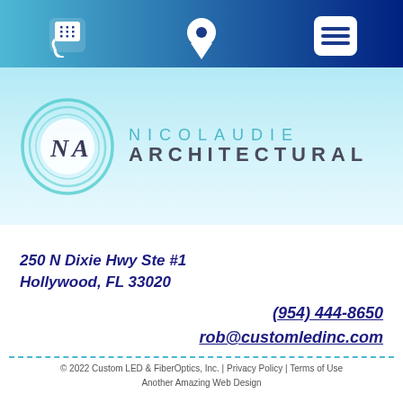[Figure (other): Navigation bar with phone icon, location pin icon, and menu icon on a blue gradient background]
[Figure (logo): Nicolaudie Architectural logo — oval teal swirl with NA monogram, and stylized text NICOLAUDIE ARCHITECTURAL]
250 N Dixie Hwy Ste #1
Hollywood, FL 33020
(954) 444-8650
rob@customledinc.com
© 2022 Custom LED & FiberOptics, Inc. | Privacy Policy | Terms of Use
Another Amazing Web Design